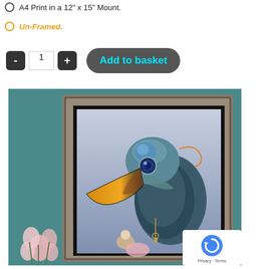A4 Print in a 12" x 15" Mount.
Un-Framed.
[Figure (screenshot): E-commerce quantity selector with minus button, quantity field showing 1, plus button, and an Add to basket button with cyan text on dark rounded background]
[Figure (photo): Framed fantasy art print showing a steampunk-style mechanical toucan bird with large beak, blue eye, ornate armor-like feathers, holding keys, with a small figure and pink flowers below, displayed in a rustic wooden frame against a teal wall]
Privacy · Terms